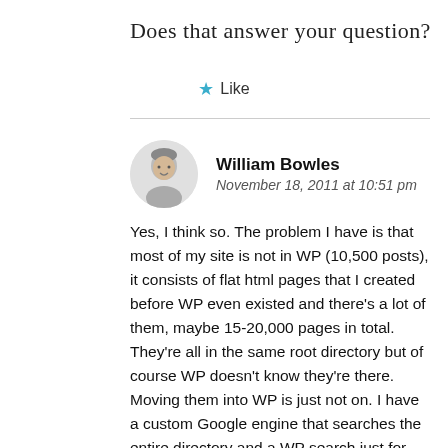Does that answer your question?
★ Like
William Bowles
November 18, 2011 at 10:51 pm
Yes, I think so. The problem I have is that most of my site is not in WP (10,500 posts), it consists of flat html pages that I created before WP even existed and there's a lot of them, maybe 15-20,000 pages in total. They're all in the same root directory but of course WP doesn't know they're there. Moving them into WP is just not on. I have a custom Google engine that searches the entire directory and a WP search just for the WP posts but I don't like the WP one. In